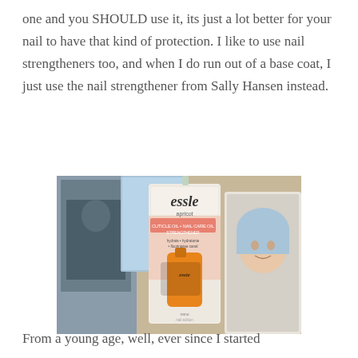one and you SHOULD use it, its just a lot better for your nail to have that kind of protection. I like to use nail strengtheners too, and when I do run out of a base coat, I just use the nail strengthener from Sally Hansen instead.
[Figure (photo): Photo of an Essie apricot nail product in packaging, placed on a wooden surface surrounded by framed pictures including one of a baby.]
From a young age, well, ever since I started